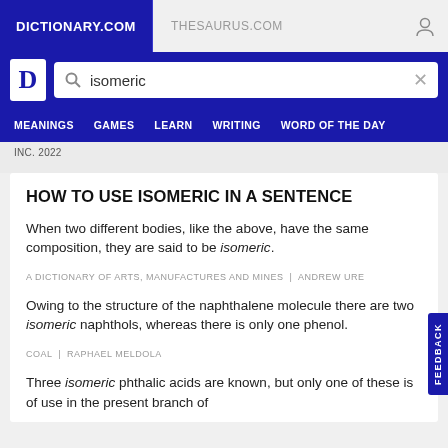DICTIONARY.COM | THESAURUS.COM
[Figure (screenshot): Dictionary.com website header with search bar showing 'isomeric' query, navigation menu with MEANINGS, GAMES, LEARN, WRITING, WORD OF THE DAY]
INC. 2022
HOW TO USE ISOMERIC IN A SENTENCE
When two different bodies, like the above, have the same composition, they are said to be isomeric.
A DICTIONARY OF ARTS, MANUFACTURES AND MINES | ANDREW URE
Owing to the structure of the naphthalene molecule there are two isomeric naphthols, whereas there is only one phenol.
COAL | RAPHAEL MELDOLA
Three isomeric phthalic acids are known, but only one of these is of use in the present branch of